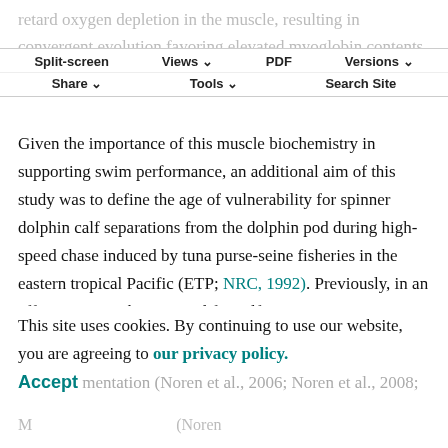retard oxygen depletion in the muscle, resulting in convergent evolution favoring elevated myoglobin contents.
Split-screen  Views  PDF  Versions  Share  Tools  Search Site
Given the importance of this muscle biochemistry in supporting swim performance, an additional aim of this study was to define the age of vulnerability for spinner dolphin calf separations from the dolphin pod during high-speed chase induced by tuna purse-seine fisheries in the eastern tropical Pacific (ETP; NRC, 1992). Previously, in an effort to assess the potential for calf separation, numerous studies were undertaken to quantify how swim performance changes with age in dolphins. The bottlenose
This site uses cookies. By continuing to use our website, you are agreeing to our privacy policy. Accept
mentation (Noren et al., 2006; Noren et al., 2008;